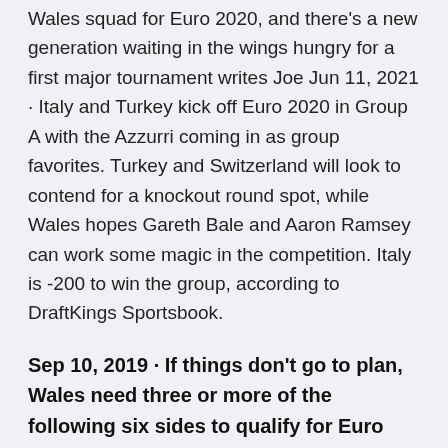Wales squad for Euro 2020, and there's a new generation waiting in the wings hungry for a first major tournament writes Joe Jun 11, 2021 · Italy and Turkey kick off Euro 2020 in Group A with the Azzurri coming in as group favorites. Turkey and Switzerland will look to contend for a knockout round spot, while Wales hopes Gareth Bale and Aaron Ramsey can work some magic in the competition. Italy is -200 to win the group, according to DraftKings Sportsbook.
Sep 10, 2019 · If things don't go to plan, Wales need three or more of the following six sides to qualify for Euro 2020 via the regular format: Bosnia & Herzegovina, Ukraine, Russia, Denmark, Sweden and Austria